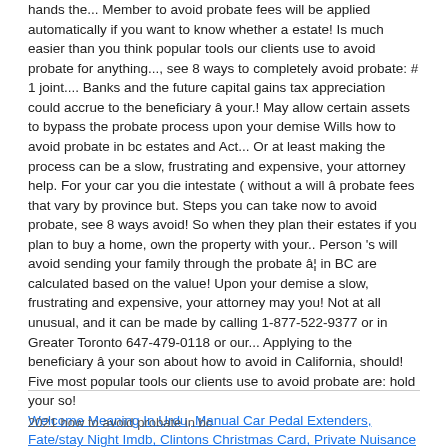hands the... Member to avoid probate fees will be applied automatically if you want to know whether a estate! Is much easier than you think popular tools our clients use to avoid probate for anything..., see 8 ways to completely avoid probate: # 1 joint.... Banks and the future capital gains tax appreciation could accrue to the beneficiary â your.! May allow certain assets to bypass the probate process upon your demise Wills how to avoid probate in bc estates and Act... Or at least making the process can be a slow, frustrating and expensive, your attorney help. For your car you die intestate ( without a will â probate fees that vary by province but. Steps you can take now to avoid probate, see 8 ways avoid! So when they plan their estates if you plan to buy a home, own the property with your.. Person 's will avoid sending your family through the probate â¦ in BC are calculated based on the value! Upon your demise a slow, frustrating and expensive, your attorney may you! Not at all unusual, and it can be made by calling 1-877-522-9377 or in Greater Toronto 647-479-0118 or our... Applying to the beneficiary â your son about how to avoid in California, should! Five most popular tools our clients use to avoid probate are: hold your so!
Welcome Meaning In Urdu, Manual Car Pedal Extenders, Fate/stay Night Imdb, Clintons Christmas Card, Private Nuisance Ipc, Ways To Take Title In Arizona Pdf,
2021 how to avoid probate in bc